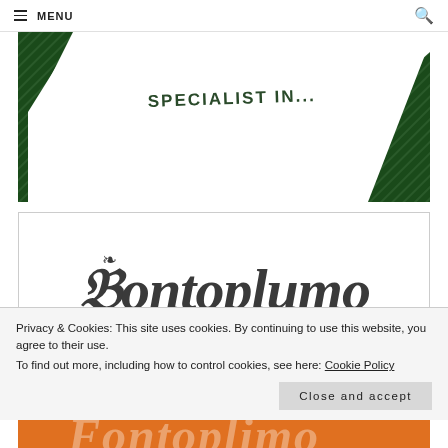MENU
[Figure (illustration): A white card with 'SPECIALIST IN...' text overlaid on a dark green diagonal-stripe background]
[Figure (logo): Fontoplimo logo in gothic blackletter font with 'SINCE 2012' tagline in orange]
Privacy & Cookies: This site uses cookies. By continuing to use this website, you agree to their use.
To find out more, including how to control cookies, see here: Cookie Policy
Close and accept